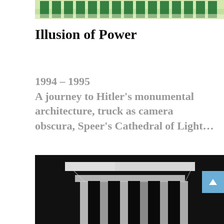[Figure (photo): Top cropped image showing green and teal architectural or banner elements with a light yellow-green background]
Illusion of Power
1994 – 1995
A journey to Hitler's monumental architecture, truck as camera obscura, Speer's Cathedral of Light…
[Figure (photo): Black and white photograph showing monumental architectural elements — white columns or pillars against a very dark background, viewed from below at an angle]